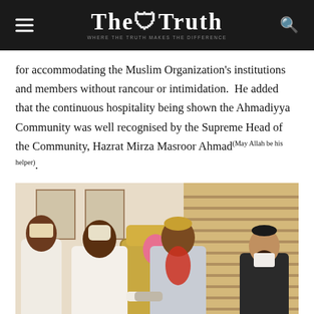The Truth
for accommodating the Muslim Organization's institutions and members without rancour or intimidation. He added that the continuous hospitality being shown the Ahmadiyya Community was well recognised by the Supreme Head of the Community, Hazrat Mirza Masroor Ahmad(May Allah be his helper).
[Figure (photo): Four men standing together in a room with wooden blinds. From left: a man in white flowing robes, a man in white agbada shaking hands with a man wearing red coral beads and a grey embroidered outfit who appears to be a traditional ruler, and a bearded man in a dark Islamic cap and jacket on the right.]